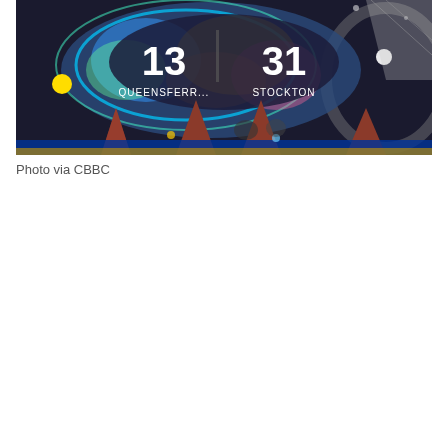[Figure (photo): A TV game show set scene from CBBC showing a colorful scoreboard displaying '13' and '31' with team names 'QUEENSFERRY' and 'STOCKTON' below, surrounded by colorful elliptical lights, cone-shaped props in orange/red on the stage floor, and dramatic stage lighting in blues, greens, yellows and pinks.]
Photo via CBBC